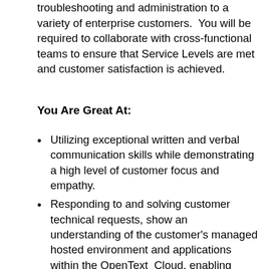troubleshooting and administration to a variety of enterprise customers.  You will be required to collaborate with cross-functional teams to ensure that Service Levels are met and customer satisfaction is achieved.
You Are Great At:
Utilizing exceptional written and verbal communication skills while demonstrating a high level of customer focus and empathy.
Responding to and solving customer technical requests, show an understanding of the customer's managed hosted environment and applications within the OpenText  Cloud, enabling resolution of complex technical issues.
Operating, managing, and administering production Documentum applications while following documented policies and procedures.
Responding to and troubleshooting alerts from